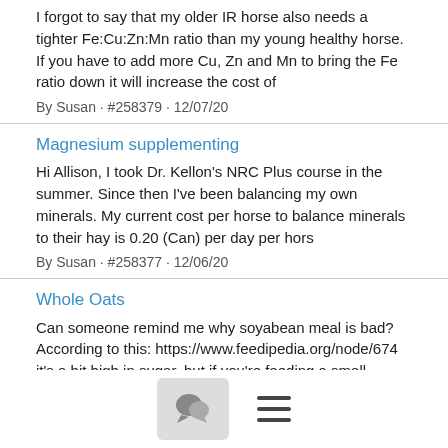I forgot to say that my older IR horse also needs a tighter Fe:Cu:Zn:Mn ratio than my young healthy horse. If you have to add more Cu, Zn and Mn to bring the Fe ratio down it will increase the cost of
By Susan · #258379 · 12/07/20
Magnesium supplementing
Hi Allison, I took Dr. Kellon's NRC Plus course in the summer. Since then I've been balancing my own minerals. My current cost per horse to balance minerals to their hay is 0.20 (Can) per day per hors
By Susan · #258377 · 12/06/20
Whole Oats
Can someone remind me why soyabean meal is bad? According to this: https://www.feedipedia.org/node/674 it's a bit high in sugar, but if you're feeding a small amount (say 100g) as carrier would the am
By Susan · #258148 · 11/30/20
[Figure (other): Toolbar with chat bubble icon button and hamburger menu icon]